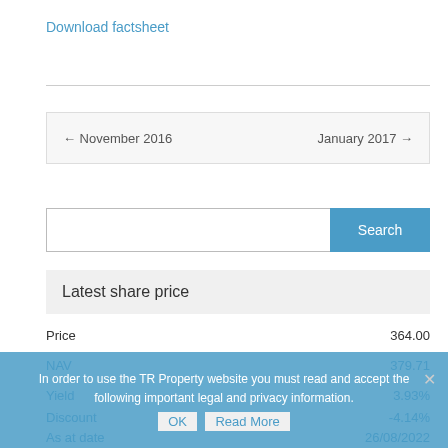Download factsheet
← November 2016    January 2017 →
Search
Latest share price
Price    364.00
NAV    379.71
Yield    3.93%
Discount    -4.14%
As at date    26/08/2022
In order to use the TR Property website you must read and accept the following important legal and privacy information.
OK   Read More